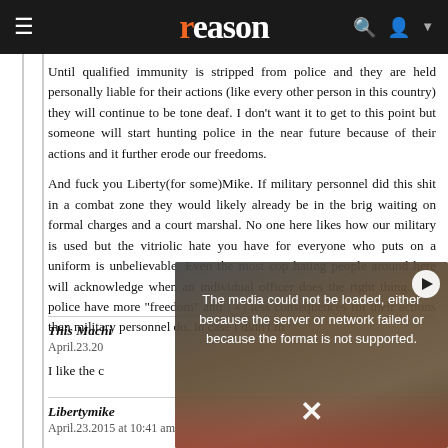reason
Until qualified immunity is stripped from police and they are held personally liable for their actions (like every other person in this country) they will continue to be tone deaf. I don't want it to get to this point but someone will start hunting police in the near future because of their actions and it further erode our freedoms.

And fuck you Liberty(for some)Mike. If military personnel did this shit in a combat zone they would likely already be in the brig waiting on formal charges and a court marshal. No one here likes how our military is used but the vitriolic hate you have for everyone who puts on a uniform is unbelievable. Even the most cop hating people around here will acknowledge when an individual officer does the right thing. The police have more "freedom" and less consequences for their actions than military personnel do. In case I didn't m
This Machi
April.23.20
I like the c
[Figure (screenshot): Video error overlay showing 'The media could not be loaded, either because the server or network failed or because the format is not supported.' with a play button and close X, overlaid on a background image of protesters holding signs.]
Libertymike
April.23.2015 at 10:41 am